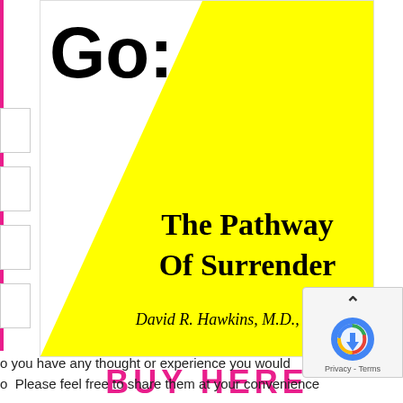[Figure (illustration): Book cover for 'Letting Go: The Pathway Of Surrender' by David R. Hawkins, M.D., Ph.D. White background with large 'Go:' text at top left, and a yellow diagonal triangular shape covering the right and bottom portions of the cover. The book title 'The Pathway Of Surrender' and author name appear on the yellow area.]
BUY HERE
o you have any thought or experience you would
[Figure (other): reCAPTCHA badge with chevron up arrow, reCAPTCHA logo (blue arrow circle), and 'Privacy - Terms' text]